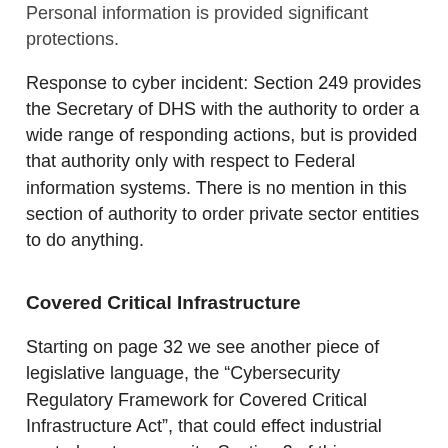Personal information is provided significant protections.
Response to cyber incident: Section 249 provides the Secretary of DHS with the authority to order a wide range of responding actions, but is provided that authority only with respect to Federal information systems. There is no mention in this section of authority to order private sector entities to do anything.
Covered Critical Infrastructure
Starting on page 32 we see another piece of legislative language, the “Cybersecurity Regulatory Framework for Covered Critical Infrastructure Act”, that could effect industrial control system security. Section 3 of this language would require the DHS Secretary to write regulations to designate ‘covered critical infrastructure’. There are a number of restrictions on this authority constraining what can be designated. The two main ones are that:
• A successful attack could result in “a dobilitating impact on national security, national…